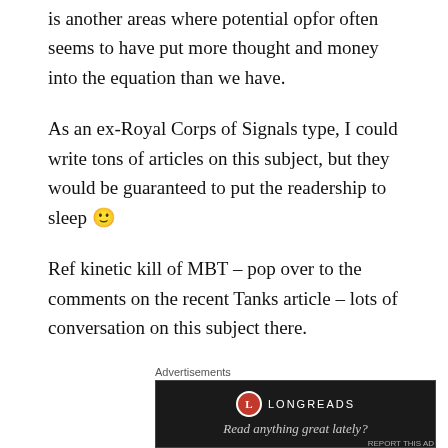is another areas where potential opfor often seems to have put more thought and money into the equation than we have.
As an ex-Royal Corps of Signals type, I could write tons of articles on this subject, but they would be guaranteed to put the readership to sleep 🙂
Ref kinetic kill of MBT – pop over to the comments on the recent Tanks article – lots of conversation on this subject there.
[Figure (screenshot): Longreads advertisement banner with logo and tagline 'Read anything great lately?']